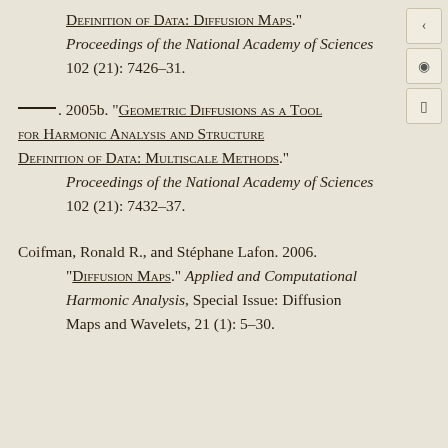Definition of Data: Diffusion Maps." Proceedings of the National Academy of Sciences 102 (21): 7426–31.
———. 2005b. "Geometric Diffusions as a Tool for Harmonic Analysis and Structure Definition of Data: Multiscale Methods." Proceedings of the National Academy of Sciences 102 (21): 7432–37.
Coifman, Ronald R., and Stéphane Lafon. 2006. "Diffusion Maps." Applied and Computational Harmonic Analysis, Special Issue: Diffusion Maps and Wavelets, 21 (1): 5–30.